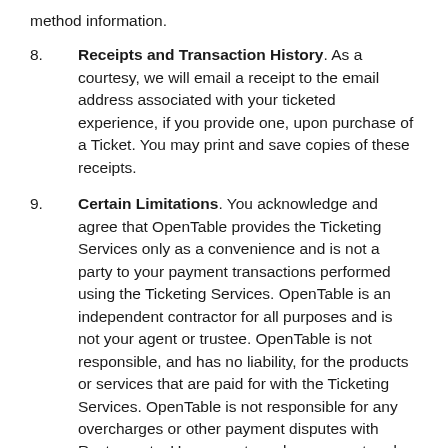method information.
8. Receipts and Transaction History. As a courtesy, we will email a receipt to the email address associated with your ticketed experience, if you provide one, upon purchase of a Ticket. You may print and save copies of these receipts.
9. Certain Limitations. You acknowledge and agree that OpenTable provides the Ticketing Services only as a convenience and is not a party to your payment transactions performed using the Ticketing Services. OpenTable is an independent contractor for all purposes and is not your agent or trustee. OpenTable is not responsible, and has no liability, for the products or services that are paid for with the Ticketing Services. OpenTable is not responsible for any overcharges or other payment disputes with Restaurants. Users must resolve payment and other disputes directly with the applicable Restaurants.